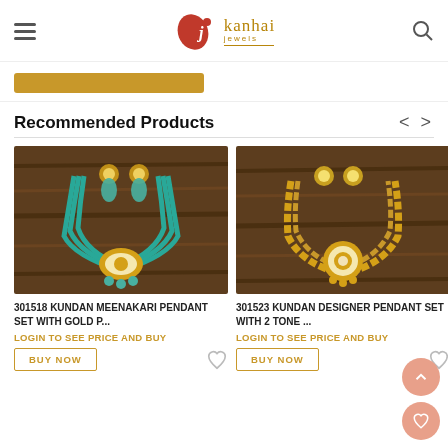Kanhai Jewels
[Figure (illustration): Gold/yellow rectangular button bar]
Recommended Products
[Figure (photo): 301518 Kundan Meenakari pendant set with turquoise multi-strand necklace and jhumka earrings on wooden background]
301518 KUNDAN MEENAKARI PENDANT SET WITH GOLD P...
LOGIN TO SEE PRICE AND BUY
[Figure (photo): 301523 Kundan Designer pendant set with amber/gold bead necklace and stud earrings on wooden background]
301523 KUNDAN DESIGNER PENDANT SET WITH 2 TONE ...
LOGIN TO SEE PRICE AND BUY